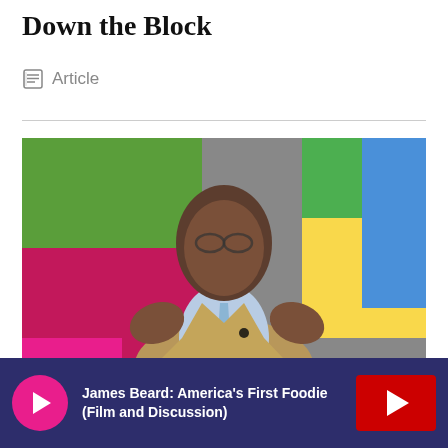Down the Block
Article
[Figure (photo): A man in a tan jacket and light blue shirt with a lapel microphone, speaking with hands raised, in front of a colorful geometric background with green, pink, blue, and yellow panels.]
James Beard: America's First Foodie (Film and Discussion)